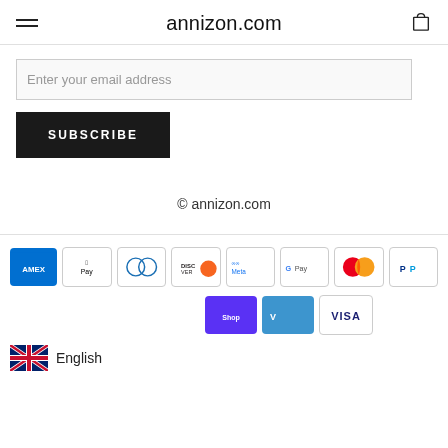annizon.com
Enter your email address
SUBSCRIBE
© annizon.com
[Figure (logo): Payment method icons: American Express, Apple Pay, Diners Club, Discover, Meta Pay, Google Pay, Mastercard, PayPal, Shop Pay, Venmo, Visa]
English